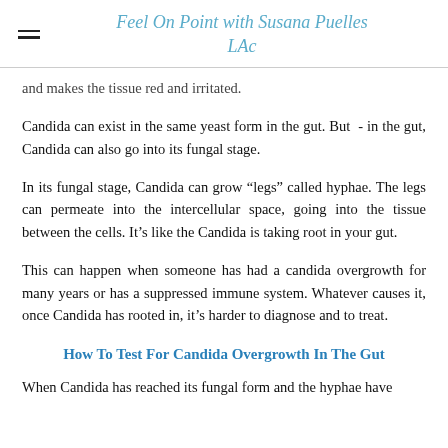Feel On Point with Susana Puelles LAc
and makes the tissue red and irritated.
Candida can exist in the same yeast form in the gut. But - in the gut, Candida can also go into its fungal stage.
In its fungal stage, Candida can grow “legs” called hyphae. The legs can permeate into the intercellular space, going into the tissue between the cells. It’s like the Candida is taking root in your gut.
This can happen when someone has had a candida overgrowth for many years or has a suppressed immune system. Whatever causes it, once Candida has rooted in, it’s harder to diagnose and to treat.
How To Test For Candida Overgrowth In The Gut
When Candida has reached its fungal form and the hyphae have